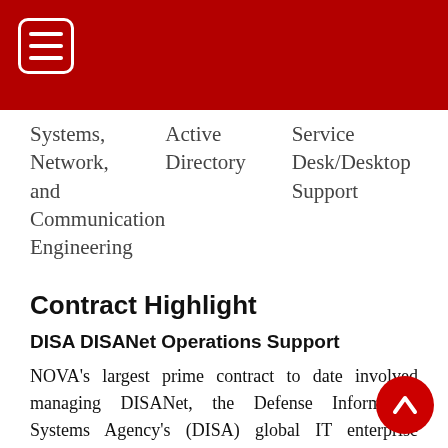Menu header bar with hamburger icon
Systems, Network, and Communication Engineering
Active Directory
Service Desk/Desktop Support
Contract Highlight
DISA DISANet Operations Support
NOVA's largest prime contract to date involved managing DISANet, the Defense Information Systems Agency's (DISA) global IT enterprise network. We ensured the continuity of DIS... suite of IT services, which supported 12,... users at 52 CONUS and OCONUS locations. Our